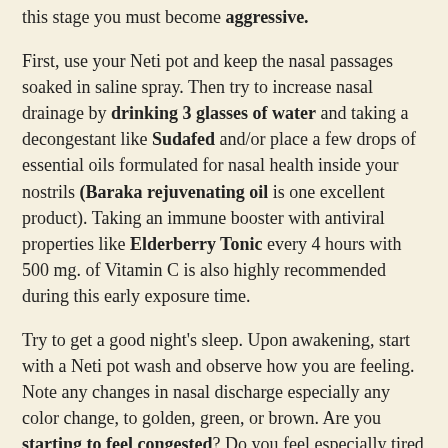this stage you must become aggressive.
First, use your Neti pot and keep the nasal passages soaked in saline spray. Then try to increase nasal drainage by drinking 3 glasses of water and taking a decongestant like Sudafed and/or place a few drops of essential oils formulated for nasal health inside your nostrils (Baraka rejuvenating oil is one excellent product). Taking an immune booster with antiviral properties like Elderberry Tonic every 4 hours with 500 mg. of Vitamin C is also highly recommended during this early exposure time.
Try to get a good night's sleep. Upon awakening, start with a Neti pot wash and observe how you are feeling. Note any changes in nasal discharge especially any color change, to golden, green, or brown. Are you starting to feel congested? Do you feel especially tired or sluggish? Are you experiencing any unusual brain fog? Throughout the day stay hydrated, use your saline spray, and observe if you are becoming irritable and losing patience. Are you having trouble concentrating or staying focused? Do you feel nauseous, have a headache, or are you experiencing